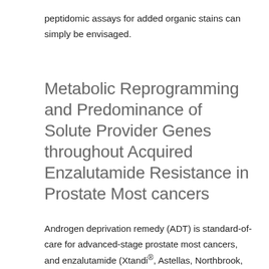peptidomic assays for added organic stains can simply be envisaged.
Metabolic Reprogramming and Predominance of Solute Provider Genes throughout Acquired Enzalutamide Resistance in Prostate Most cancers
Androgen deprivation remedy (ADT) is standard-of-care for advanced-stage prostate most cancers, and enzalutamide (Xtandi®, Astellas, Northbrook, IL, USA), a second technology antiandrogen, is prescribed on this scientific setting. The response to this remedy is normally short-term with the speedy emergence of drug resistance. A greater understanding of gene expression adjustments related to enzalutamide resistance will facilitate circumventing this downside. We in contrast the